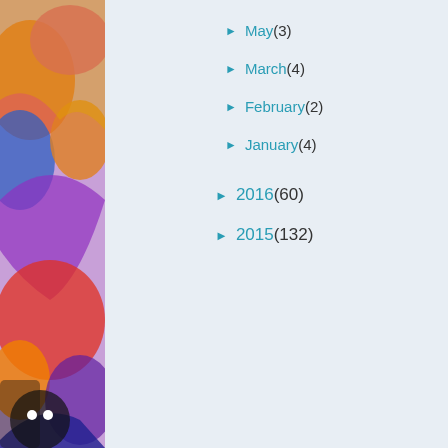[Figure (photo): Colorful graffiti mural on left side, vibrant purples, oranges, blues]
► May (3)
► March (4)
► February (2)
► January (4)
► 2016 (60)
► 2015 (132)
[Figure (photo): Person walking near a large water wall / blue tiled building exterior]
What: Wall to W...
Where: Benalla...
When: Daily
Why: public art...
How Much: FREE
Nearby: Goora...